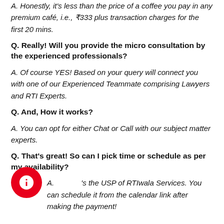A. Honestly, it's less than the price of a coffee you pay in any premium café, i.e., ₹333 plus transaction charges for the first 20 mins.
Q. Really! Will you provide the micro consultation by the experienced professionals?
A. Of course YES! Based on your query will connect you with one of our Experienced Teammate comprising Lawyers and RTI Experts.
Q. And, How it works?
A. You can opt for either Chat or Call with our subject matter experts.
Q. That's great! So can I pick time or schedule as per my availability?
A. That's the USP of RTIwala Services. You can schedule it from the calendar link after making the payment!